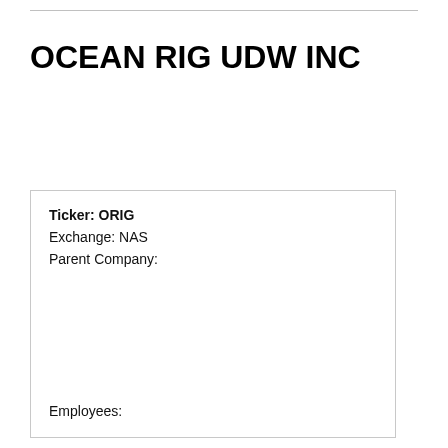OCEAN RIG UDW INC
Ticker: ORIG
Exchange: NAS
Parent Company:
Employees: